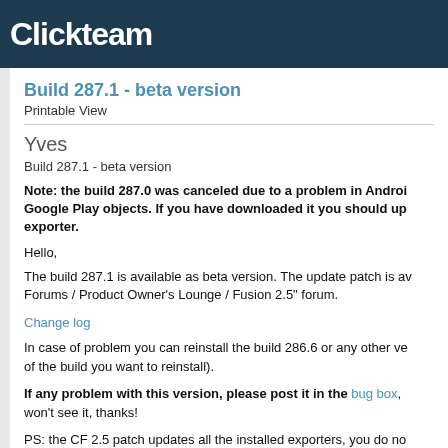Clickteam
Build 287.1 - beta version
Printable View
Yves
Build 287.1 - beta version
Note: the build 287.0 was canceled due to a problem in Android Google Play objects. If you have downloaded it you should up exporter.
Hello,
The build 287.1 is available as beta version. The update patch is available in the Forums / Product Owner's Lounge / Fusion 2.5" forum.
Change log
In case of problem you can reinstall the build 286.6 or any other version (of the build you want to reinstall).
If any problem with this version, please post it in the bug box, won't see it, thanks!
PS: the CF 2.5 patch updates all the installed exporters, you do not need